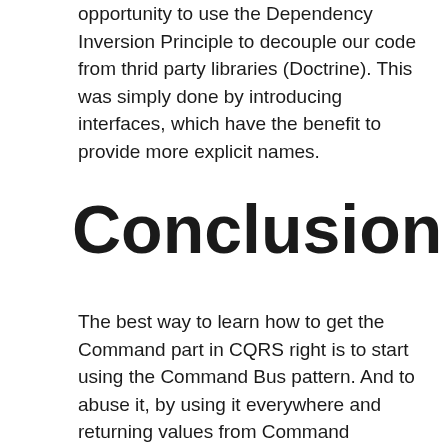opportunity to use the Dependency Inversion Principle to decouple our code from thrid party libraries (Doctrine). This was simply done by introducing interfaces, which have the benefit to provide more explicit names.
Conclusion
The best way to learn how to get the Command part in CQRS right is to start using the Command Bus pattern. And to abuse it, by using it everywhere and returning values from Command Handlers.